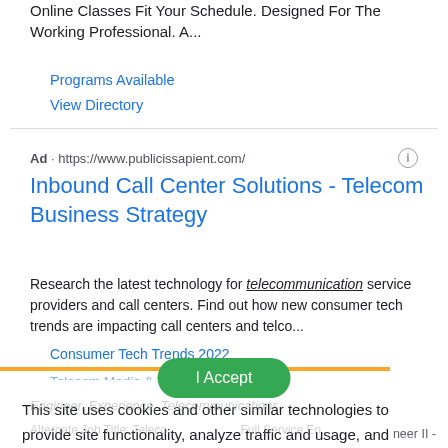Online Classes Fit Your Schedule. Designed For The Working Professional. A...
Programs Available
View Directory
Ad · https://www.publicissapient.com/
Inbound Call Center Solutions - Telecom Business Strategy
Research the latest technology for telecommunication service providers and call centers. Find out how new consumer tech trends are impacting call centers and telco...
Consumer Tech Trends 2022
Telecom Media & Tech News
This site uses cookies and other similar technologies to provide site functionality, analyze traffic and usage, and deliver content tailored to your interests. | Learn More
Engineer, Experience, Telecommunications
Alternate Job Title: Telecommunications... | Full Service En... neer II - alte...
I Accept